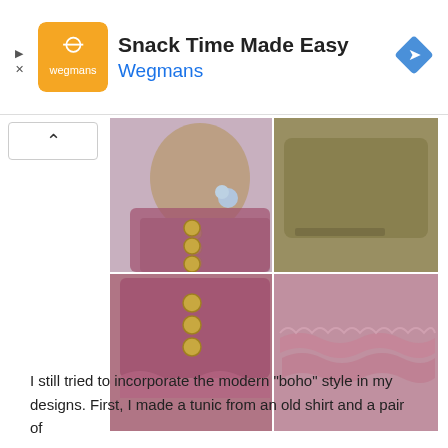[Figure (infographic): Advertisement banner: orange/yellow Wegmans logo square on left, bold title 'Snack Time Made Easy' and blue subtitle 'Wegmans', blue diamond navigation icon on right, play and X controls on far left]
[Figure (photo): Photo collage of a child's boho-style purple tunic dress: top-left shows child from behind with flower hair clip, top-right shows folded olive/khaki fabric sleeve detail, bottom-left shows back of dress with wooden buttons, bottom-right shows ruffled hem detail]
I still tried to incorporate the modern "boho" style in my designs. First, I made a tunic from an old shirt and a pair of